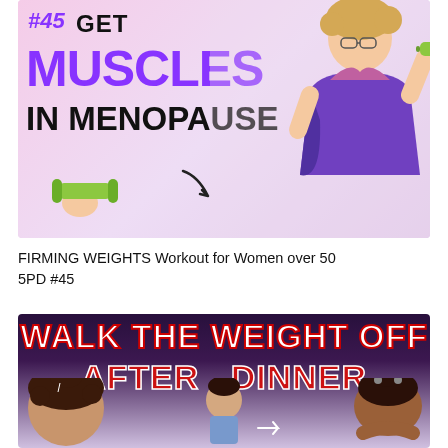[Figure (photo): Fitness thumbnail showing a smiling middle-aged woman with glasses holding green dumbbells, wearing a colorful workout top. Bold text overlay reads '#45 GET MUSCLES IN MENOPAUSE' in purple and black on a pink/lavender background.]
FIRMING WEIGHTS Workout for Women over 50 5PD #45
[Figure (photo): Fitness thumbnail showing two women with natural hair on a light background. Bold text overlay reads 'WALK THE WEIGHT OFF AFTER DINNER' in white with red stroke and red lettering. A woman in athletic wear is shown in the center.]